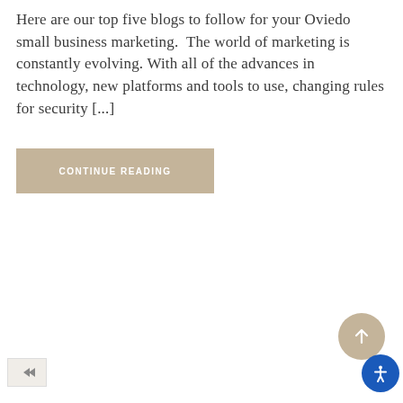Here are our top five blogs to follow for your Oviedo small business marketing.  The world of marketing is constantly evolving. With all of the advances in technology, new platforms and tools to use, changing rules for security [...]
CONTINUE READING
[Figure (other): Scroll-to-top button: circular tan/beige button with upward arrow icon, bottom-right area]
[Figure (other): Accessibility button: circular blue button with person/accessibility icon, bottom-right corner]
[Figure (other): Forward/share button: small rectangle with double arrow icon, bottom-left corner]